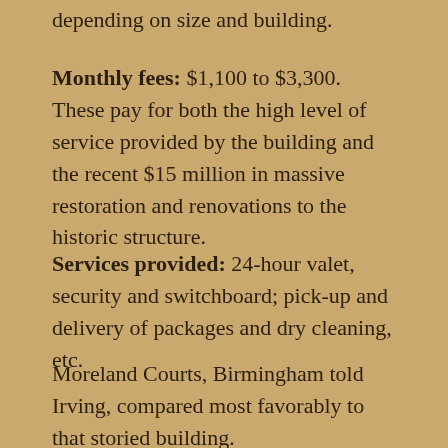depending on size and building.
Monthly fees: $1,100 to $3,300. These pay for both the high level of service provided by the building and the recent $15 million in massive restoration and renovations to the historic structure.
Services provided: 24-hour valet, security and switchboard; pick-up and delivery of packages and dry cleaning, etc.
Moreland Courts, Birmingham told Irving, compared most favorably to that storied building.
...